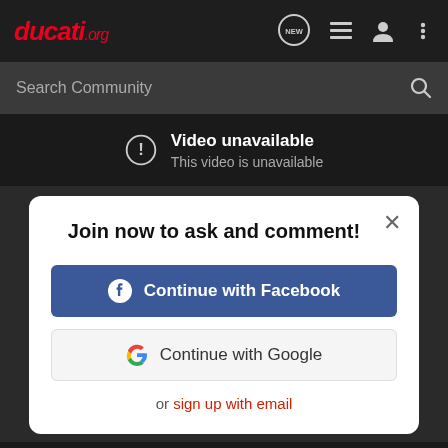ducati.org
Search Community
Video unavailable
This video is unavailable
Join now to ask and comment!
Continue with Facebook
Continue with Google
or sign up with email
This video is unavailable